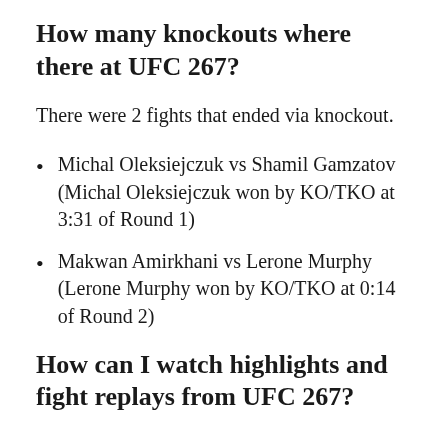How many knockouts where there at UFC 267?
There were 2 fights that ended via knockout.
Michal Oleksiejczuk vs Shamil Gamzatov (Michal Oleksiejczuk won by KO/TKO at 3:31 of Round 1)
Makwan Amirkhani vs Lerone Murphy (Lerone Murphy won by KO/TKO at 0:14 of Round 2)
How can I watch highlights and fight replays from UFC 267?